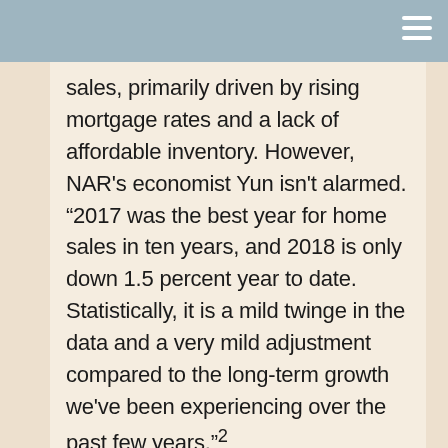sales, primarily driven by rising mortgage rates and a lack of affordable inventory. However, NAR's economist Yun isn't alarmed. “2017 was the best year for home sales in ten years, and 2018 is only down 1.5 percent year to date. Statistically, it is a mild twinge in the data and a very mild adjustment compared to the long-term growth we’ve been experiencing over the past few years.”²
National Sales Levels Will Steady